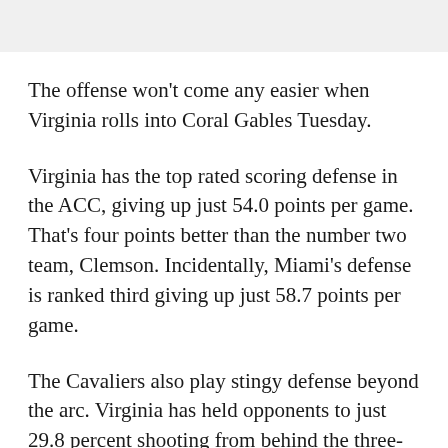The offense won't come any easier when Virginia rolls into Coral Gables Tuesday.
Virginia has the top rated scoring defense in the ACC, giving up just 54.0 points per game. That's four points better than the number two team, Clemson. Incidentally, Miami's defense is ranked third giving up just 58.7 points per game.
The Cavaliers also play stingy defense beyond the arc. Virginia has held opponents to just 29.8 percent shooting from behind the three-point line this season.
But while Virginia's defense is stellar, it's struggled